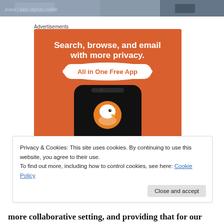[Figure (photo): Partial photo strip at the top of the page showing a person in jeans and dark objects]
Advertisements
[Figure (illustration): DuckDuckGo advertisement on orange background: 'Search, browse, and email with more privacy. All in One Free App' with a phone showing the DuckDuckGo logo]
Privacy & Cookies: This site uses cookies. By continuing to use this website, you agree to their use.
To find out more, including how to control cookies, see here: Cookie Policy
more collaborative setting, and providing that for our